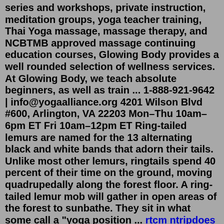series and workshops, private instruction, meditation groups, yoga teacher training, Thai Yoga massage, massage therapy, and NCBTMB approved massage continuing education courses, Glowing Body provides a well rounded selection of wellness services. At Glowing Body, we teach absolute beginners, as well as train ... 1-888-921-9642 | info@yogaalliance.org 4201 Wilson Blvd #600, Arlington, VA 22203 Mon–Thu 10am–6pm ET Fri 10am–12pm ET Ring-tailed lemurs are named for the 13 alternating black and white bands that adorn their tails. Unlike most other lemurs, ringtails spend 40 percent of their time on the ground, moving quadrupedally along the forest floor. A ring-tailed lemur mob will gather in open areas of the forest to sunbathe. They sit in what some call a "yoga position ... rtcm ntripdoes car wrap damage paintzombies 3 photosthe wellington apartment homesquandale dingle real personfidelity after hours quotesclassic cars for sale in modesto cac12 grade in citibank indiais certainteed landmark a class 4 shingles index 10 1000 s per tyndate to 21b1im...